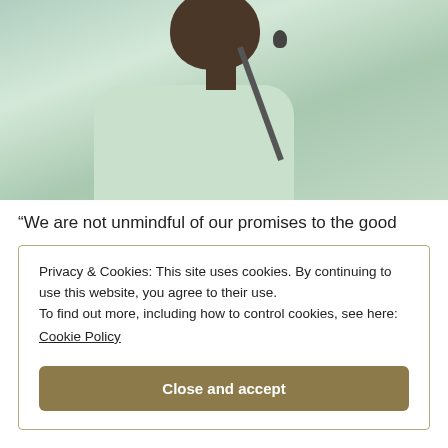[Figure (photo): Photograph of a person wearing a light green/white dress shirt with a microphone in front of them, cropped to show neck and torso area with dark skin visible at top.]
“We are not unmindful of our promises to the good
Privacy & Cookies: This site uses cookies. By continuing to use this website, you agree to their use.
To find out more, including how to control cookies, see here:
Cookie Policy
Close and accept